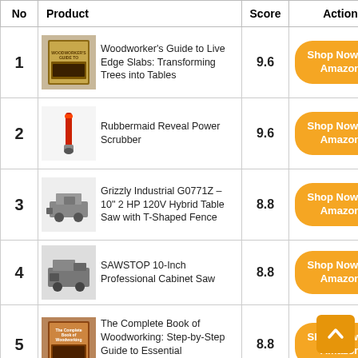| No | Product | Score | Action |
| --- | --- | --- | --- |
| 1 | Woodworker's Guide to Live Edge Slabs: Transforming Trees into Tables | 9.6 | Shop Now on Amazon |
| 2 | Rubbermaid Reveal Power Scrubber | 9.6 | Shop Now on Amazon |
| 3 | Grizzly Industrial G0771Z – 10" 2 HP 120V Hybrid Table Saw with T-Shaped Fence | 8.8 | Shop Now on Amazon |
| 4 | SAWSTOP 10-Inch Professional Cabinet Saw | 8.8 | Shop Now on Amazon |
| 5 | The Complete Book of Woodworking: Step-by-Step Guide to Essential Woodworking Skills | 8.8 | Shop Now on Amazon |
|  | Grizzly Industrial G1023RLWX – |  |  |